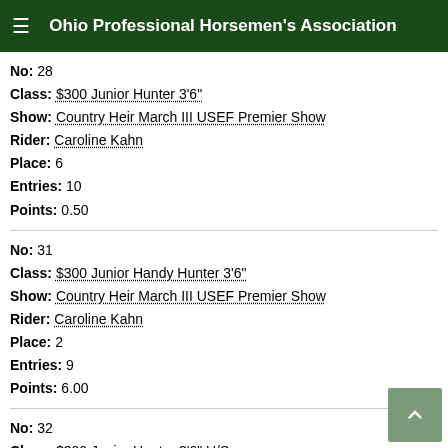Ohio Professional Horsemen's Association
No: 28
Class: $300 Junior Hunter 3'6"
Show: Country Heir March III USEF Premier Show
Rider: Caroline Kahn
Place: 6
Entries: 10
Points: 0.50
No: 31
Class: $300 Junior Handy Hunter 3'6"
Show: Country Heir March III USEF Premier Show
Rider: Caroline Kahn
Place: 2
Entries: 9
Points: 6.00
No: 32
Class: $300 Junior Hunter 3'6" U/S
Show: Country Heir March III USEF Premier Show
Rider: Caroline Kahn
Place: 4